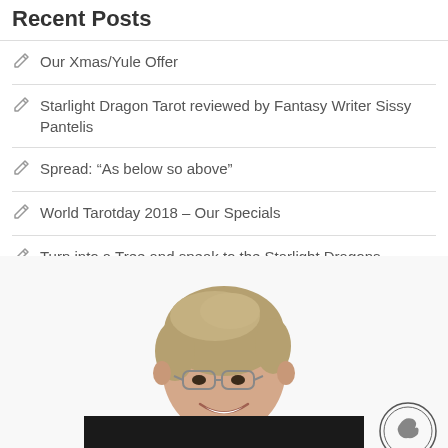Recent Posts
Our Xmas/Yule Offer
Starlight Dragon Tarot reviewed by Fantasy Writer Sissy Pantelis
Spread: “As below so above”
World Tarotday 2018 – Our Specials
Turn into a Tree and speak to the Starlight Dragons
[Figure (photo): A smiling woman with short blonde hair, wearing glasses and a black blazer, photographed against a white background. A small circular logo/seal is visible in the bottom right corner.]